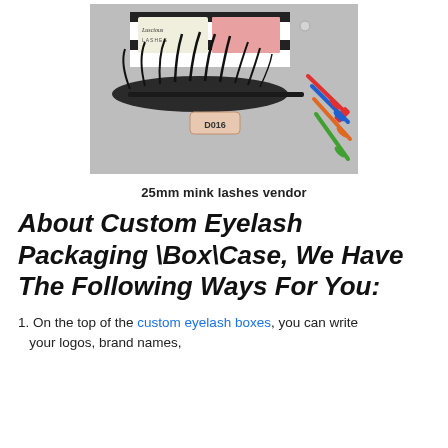[Figure (photo): Photo of 25mm mink false eyelashes displayed outside a black-and-white striped lash box labeled 'Luscious Lashes', with colored mascara wands (red, blue, orange, green) on a gray fabric background. A label tag reads 'D016'.]
25mm mink lashes vendor
About Custom Eyelash Packaging \Box\Case, We Have The Following Ways For You:
1. On the top of the custom eyelash boxes, you can write your logos, brand names,